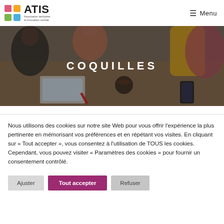ATIS — Association territoires et innovation sociale | Menu
[Figure (photo): Overhead photo of young people sitting around a wooden table with books, tablets, phones and a coffee cup, with hero title overlay reading COQUILLES]
COQUILLES
Nous utilisons des cookies sur notre site Web pour vous offrir l'expérience la plus pertinente en mémorisant vos préférences et en répétant vos visites. En cliquant sur « Tout accepter », vous consentez à l'utilisation de TOUS les cookies. Cependant, vous pouvez visiter « Paramètres des cookies » pour fournir un consentement contrôlé.
Ajuster
Tout accepter
Refuser